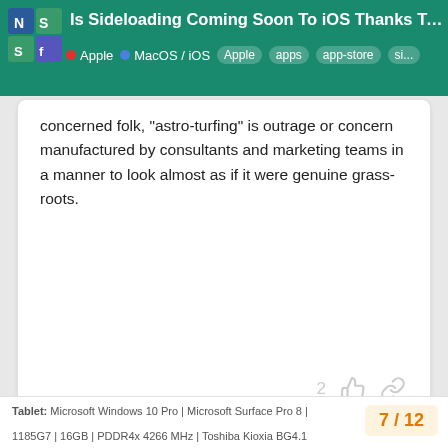Is Sideloading Coming Soon To iOS Thanks To T...
concerned folk, "astro-turfing" is outrage or concern manufactured by consultants and marketing teams in a manner to look almost as if it were genuine grass-roots.
Hifihedgehog  Site Owner  Jan 25
Exactly. Suffice it to say, the replies that I saw to the published Facebook ad (among the many they are floating online) bitterly received it.
Tablet: Microsoft Windows 10 Pro | Microsoft Surface Pro 8 | 1185G7 | 16GB | PDDR4x 4266 MHz | Toshiba Kioxia BG4.1
7 / 12